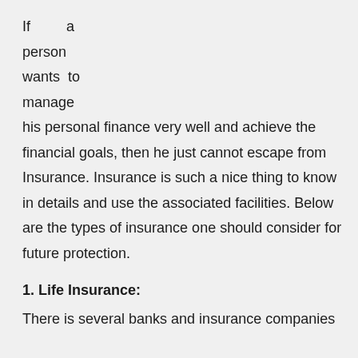If a person wants to manage his personal finance very well and achieve the financial goals, then he just cannot escape from Insurance. Insurance is such a nice thing to know in details and use the associated facilities. Below are the types of insurance one should consider for future protection.
1. Life Insurance:
There is several banks and insurance companies